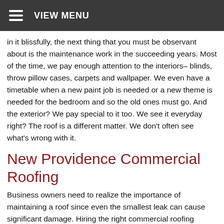VIEW MENU
in it blissfully, the next thing that you must be observant about is the maintenance work in the succeeding years. Most of the time, we pay enough attention to the interiors– blinds, throw pillow cases, carpets and wallpaper. We even have a timetable when a new paint job is needed or a new theme is needed for the bedroom and so the old ones must go. And the exterior? We pay special to it too. We see it everyday right? The roof is a different matter. We don't often see what's wrong with it.
New Providence Commercial Roofing
Business owners need to realize the importance of maintaining a roof since even the smallest leak can cause significant damage. Hiring the right commercial roofing contractor at the appropriate time goes a long way in preserving ones home for years to come. If you are looking for a roofing contractor in New Providence, then you have come to the right place. Joseph David Roofing is your number one choice in